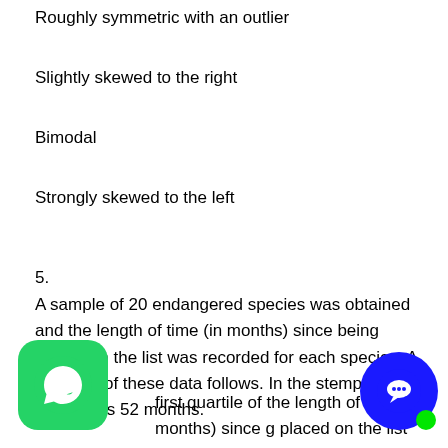Roughly symmetric with an outlier
Slightly skewed to the right
Bimodal
Strongly skewed to the left
5.
A sample of 20 endangered species was obtained and the length of time (in months) since being placed on the list was recorded for each species. A stemplot of these data follows. In the stemplot, 5 | 2 represents 52 months.
first quartile of the length of time (in months) since being placed on the list for these 20 species is